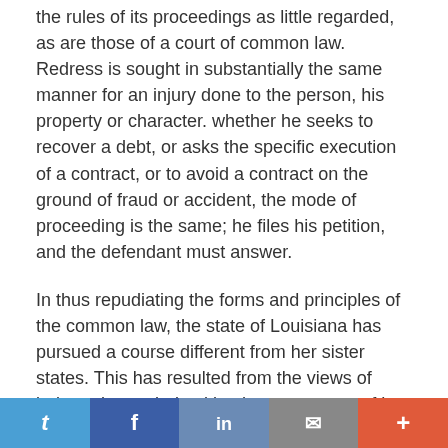the rules of its proceedings as little regarded, as are those of a court of common law. Redress is sought in substantially the same manner for an injury done to the person, his property or character. whether he seeks to recover a debt, or asks the specific execution of a contract, or to avoid a contract on the ground of fraud or accident, the mode of proceeding is the same; he files his petition, and the defendant must answer.
In thus repudiating the forms and principles of the common law, the state of Louisiana has pursued a course different from her sister states. This has resulted from the views of jurisprudence derived by the great mass of her citizens from the foreign governments with which they were recently connected.
It is no doubt a wise policy to adapt the principles of [28 U.S.
Twitter | Facebook | LinkedIn | Email | +